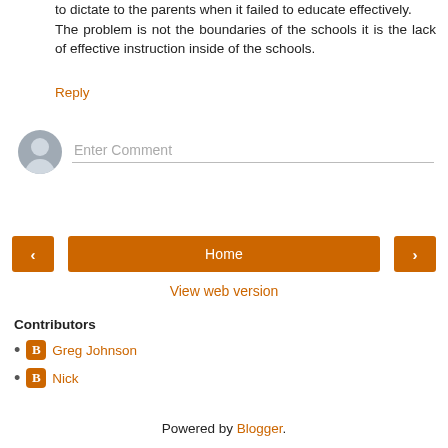to dictate to the parents when it failed to educate effectively.
The problem is not the boundaries of the schools it is the lack of effective instruction inside of the schools.
Reply
[Figure (other): Comment input field with user avatar placeholder and 'Enter Comment' placeholder text]
[Figure (other): Navigation bar with left arrow button, Home button, and right arrow button]
View web version
Contributors
Greg Johnson
Nick
Powered by Blogger.